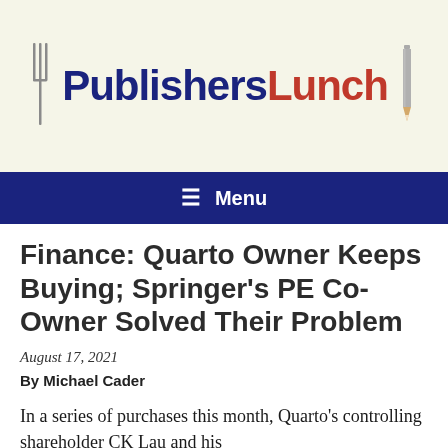[Figure (logo): PublishersLunch logo with fork icon on left, pencil icon on right, 'Publishers' in dark navy bold and 'Lunch' in red bold]
≡  Menu
Finance: Quarto Owner Keeps Buying; Springer's PE Co-Owner Solved Their Problem
August 17, 2021
By Michael Cader
In a series of purchases this month, Quarto's controlling shareholder CK Lau and his